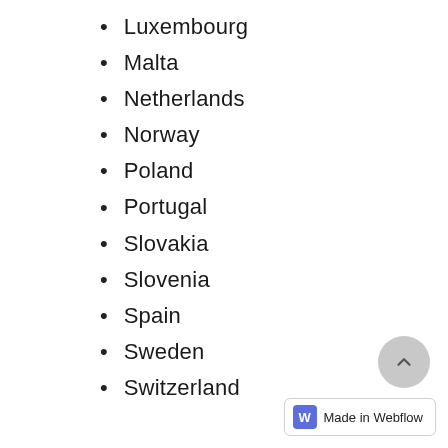Luxembourg
Malta
Netherlands
Norway
Poland
Portugal
Slovakia
Slovenia
Spain
Sweden
Switzerland